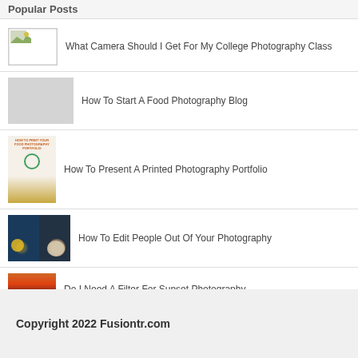Popular Posts
What Camera Should I Get For My College Photography Class
How To Start A Food Photography Blog
How To Present A Printed Photography Portfolio
How To Edit People Out Of Your Photography
Do I Need A Filter For Sunset Photography
Copyright 2022 Fusiontr.com